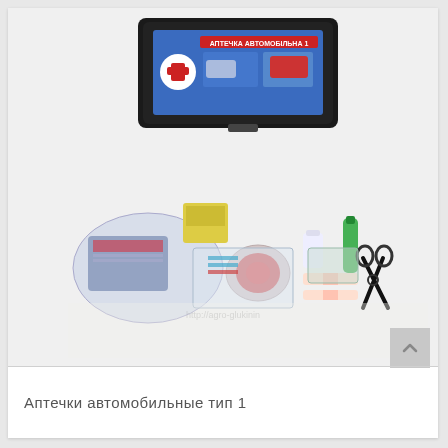[Figure (photo): A Ukrainian automobile first aid kit (Аптечка Автомобільна 1) shown open with its black plastic case lid visible at the top bearing a blue label with red cross logo and Cyrillic text, and the kit contents spread out in front: bandages, rolls of tape, gauze, adhesive plasters, scissors, and other medical supplies in plastic packaging.]
Аптечки автомобильные тип 1